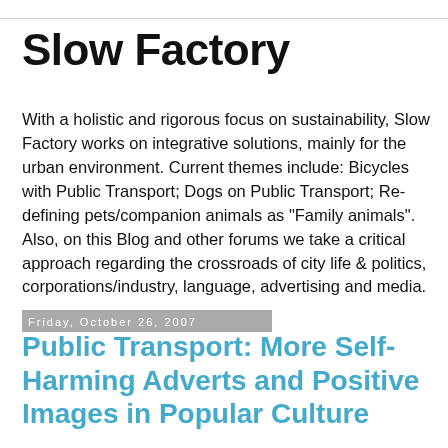Slow Factory
With a holistic and rigorous focus on sustainability, Slow Factory works on integrative solutions, mainly for the urban environment. Current themes include: Bicycles with Public Transport; Dogs on Public Transport; Re-defining pets/companion animals as "Family animals". Also, on this Blog and other forums we take a critical approach regarding the crossroads of city life & politics, corporations/industry, language, advertising and media.
Friday, October 26, 2007
Public Transport: More Self-Harming Adverts and Positive Images in Popular Culture